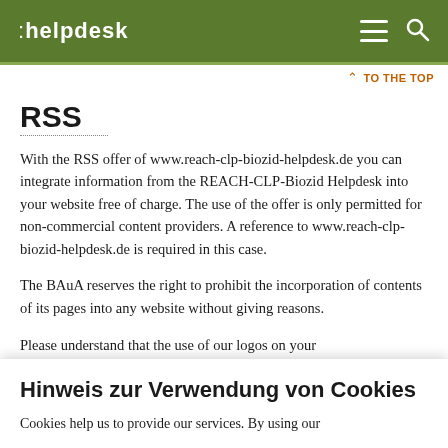:helpdesk
RSS
With the RSS offer of www.reach-clp-biozid-helpdesk.de you can integrate information from the REACH-CLP-Biozid Helpdesk into your website free of charge. The use of the offer is only permitted for non-commercial content providers. A reference to www.reach-clp-biozid-helpdesk.de is required in this case.
The BAuA reserves the right to prohibit the incorporation of contents of its pages into any website without giving reasons.
Please understand that the use of our logos on your
Hinweis zur Verwendung von Cookies
Cookies help us to provide our services. By using our